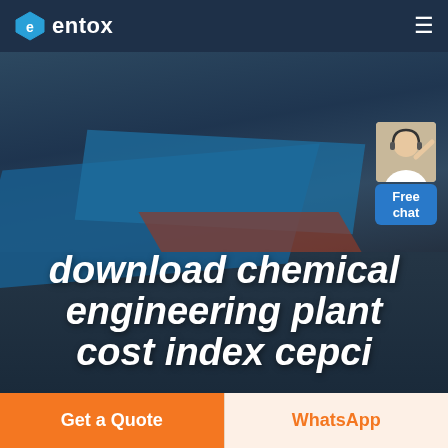entox
[Figure (photo): Aerial view of a chemical/industrial plant facility with large blue-roofed warehouses and road infrastructure, used as hero background image]
download chemical engineering plant cost index cepci
Get a Quote
WhatsApp